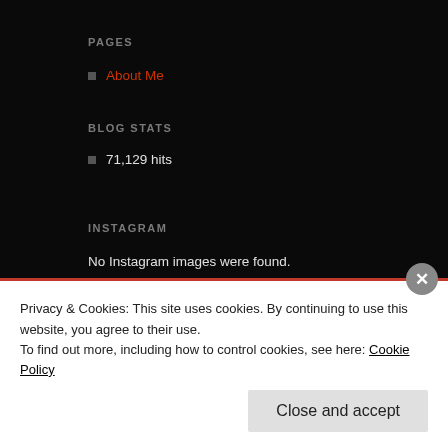PAGES
About Me
BLOG STATS
71,129 hits
INSTAGRAM
No Instagram images were found.
FOLLOW ME ON TWITTER
My Tweets
FOLLOW BLOG VIA EMAIL
Enter your email address to follow this blog and receive notifications
Privacy & Cookies: This site uses cookies. By continuing to use this website, you agree to their use.
To find out more, including how to control cookies, see here: Cookie Policy
Close and accept